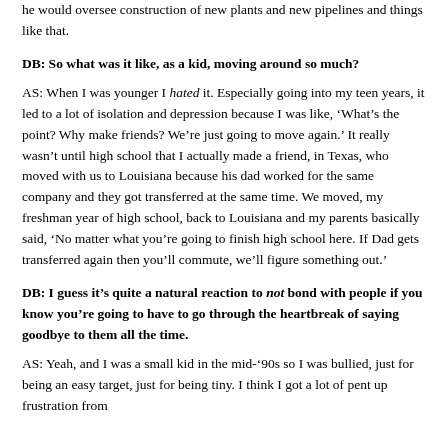he would oversee construction of new plants and new pipelines and things like that.
DB: So what was it like, as a kid, moving around so much?
AS: When I was younger I hated it. Especially going into my teen years, it led to a lot of isolation and depression because I was like, ‘What’s the point? Why make friends? We’re just going to move again.’ It really wasn’t until high school that I actually made a friend, in Texas, who moved with us to Louisiana because his dad worked for the same company and they got transferred at the same time. We moved, my freshman year of high school, back to Louisiana and my parents basically said, ‘No matter what you’re going to finish high school here. If Dad gets transferred again then you’ll commute, we’ll figure something out.’
DB: I guess it’s quite a natural reaction to not bond with people if you know you’re going to have to go through the heartbreak of saying goodbye to them all the time.
AS: Yeah, and I was a small kid in the mid-’90s so I was bullied, just for being an easy target, just for being tiny. I think I got a lot of pent up frustration from